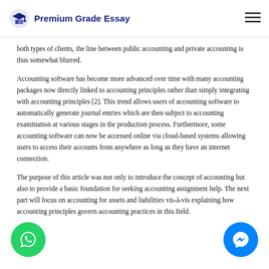Premium Grade Essay
both types of clients, the line between public accounting and private accounting is thus somewhat blurred.
Accounting software has become more advanced over time with many accounting packages now directly linked to accounting principles rather than simply integrating with accounting principles [2]. This trend allows users of accounting software to automatically generate journal entries which are then subject to accounting examination at various stages in the production process. Furthermore, some accounting software can now be accessed online via cloud-based systems allowing users to access their accounts from anywhere as long as they have an internet connection.
The purpose of this article was not only to introduce the concept of accounting but also to provide a basic foundation for seeking accounting assignment help. The next part will focus on accounting for assets and liabilities vis-à-vis explaining how accounting principles govern accounting practices in this field.